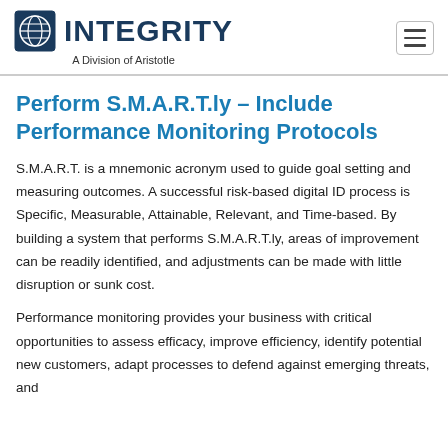INTEGRITY — A Division of Aristotle
Perform S.M.A.R.T.ly – Include Performance Monitoring Protocols
S.M.A.R.T. is a mnemonic acronym used to guide goal setting and measuring outcomes. A successful risk-based digital ID process is Specific, Measurable, Attainable, Relevant, and Time-based. By building a system that performs S.M.A.R.T.ly, areas of improvement can be readily identified, and adjustments can be made with little disruption or sunk cost.
Performance monitoring provides your business with critical opportunities to assess efficacy, improve efficiency, identify potential new customers, adapt processes to defend against emerging threats, and